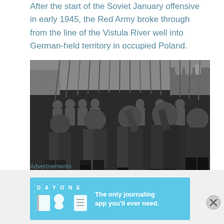After the start of the Soviet January offensive in early 1945, the Red Army broke through from the line of the Vistula River well into German-held territory in occupied Poland.
[Figure (photo): Black and white photograph of Red Army soldiers marching in winter coats and fur hats, carrying rifles with bayonets, in formation during a military parade in snowy conditions.]
Advertisements
[Figure (infographic): Advertisement for DayOne journaling app with blue background, app icons, and text 'The only journaling app you'll ever need.']